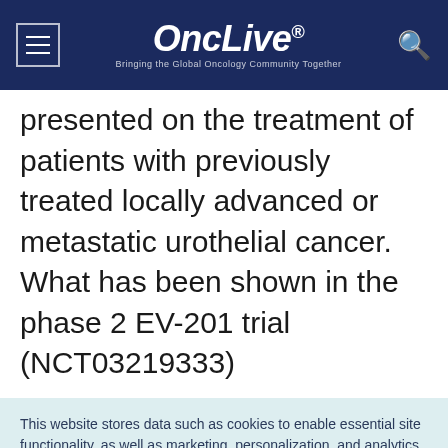OncLive® — Bringing the Global Oncology Community Together
presented on the treatment of patients with previously treated locally advanced or metastatic urothelial cancer. What has been shown in the phase 2 EV-201 trial (NCT03219333)
This website stores data such as cookies to enable essential site functionality, as well as marketing, personalization, and analytics. Cookie Policy
Accept
Deny